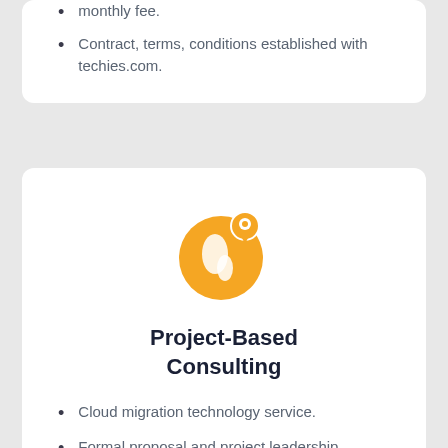monthly fee.
Contract, terms, conditions established with techies.com.
[Figure (illustration): Orange globe icon with a location pin, representing global project-based consulting services.]
Project-Based Consulting
Cloud migration technology service.
Formal proposal and project leadership provided by techies.com.
Fixed bid and/or time and materials pricing available.